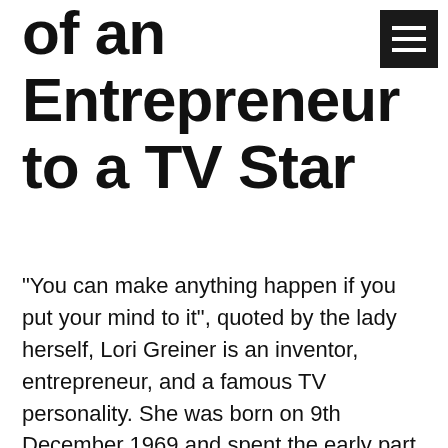of an Entrepreneur to a TV Star
“You can make anything happen if you put your mind to it”, quoted by the lady herself, Lori Greiner is an inventor, entrepreneur, and a famous TV personality. She was born on 9th December 1969 and spent the early part of her life in Chicago. She studied at Loyola University, Chicago, majored in Communication, and also focussed on journalism. After graduation, she created and patented plastic jewelry